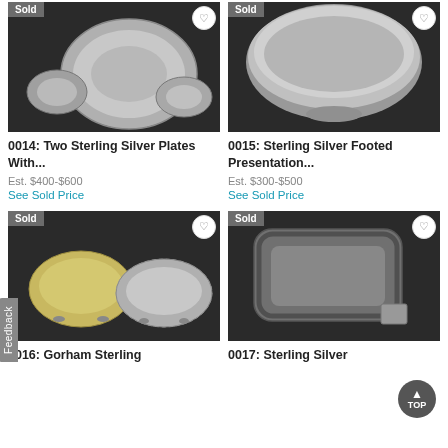[Figure (photo): Photo of two sterling silver plates with smaller plates, dark background, with Sold badge]
[Figure (photo): Photo of a sterling silver footed presentation bowl, dark background, with Sold badge]
0014: Two Sterling Silver Plates With...
Est. $400-$600
See Sold Price
0015: Sterling Silver Footed Presentation...
Est. $300-$500
See Sold Price
[Figure (photo): Photo of two small sterling silver footed dishes, dark background, with Sold badge]
[Figure (photo): Photo of a sterling silver decorative tray and small silver item, dark background, with Sold badge]
0016: Gorham Sterling
0017: Sterling Silver